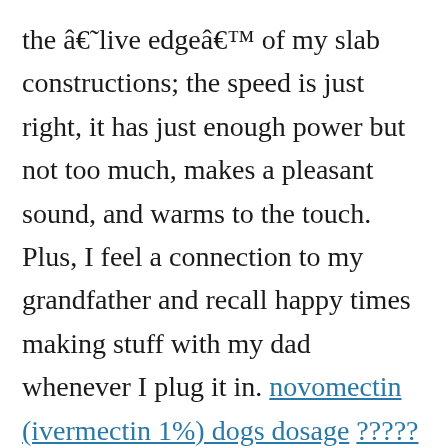the â€˜live edgeâ€™ of my slab constructions; the speed is just right, it has just enough power but not too much, makes a pleasant sound, and warms to the touch. Plus, I feel a connection to my grandfather and recall happy times making stuff with my dad whenever I plug it in. novomectin (ivermectin 1%) dogs dosage ????? ?????????
//